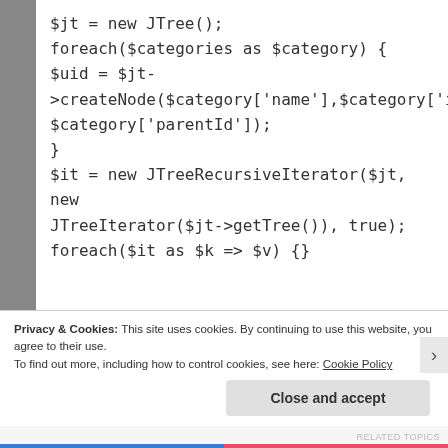$jt = new JTree();
foreach($categories as $category) {
$uid = $jt->createNode($category['name'],$category['id'], $category['parentId']);
}
$it = new JTreeRecursiveIterator($jt, new JTreeIterator($jt->getTree()), true);
foreach($it as $k => $v) {}
The tree appears empty… What I'm doing wrong?
Thanks for your time
Privacy & Cookies: This site uses cookies. By continuing to use this website, you agree to their use.
To find out more, including how to control cookies, see here: Cookie Policy